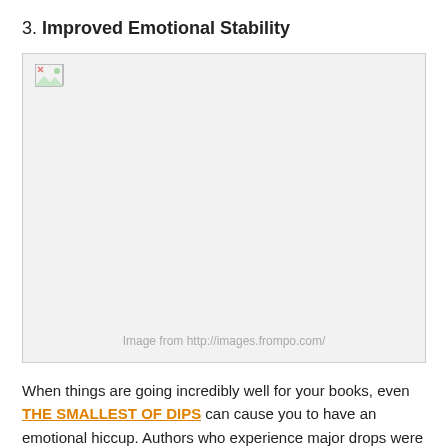3. Improved Emotional Stability
[Figure (photo): Broken/missing image placeholder with caption 'Image from http://images.frompo.com/']
Image from http://images.frompo.com/
When things are going incredibly well for your books, even THE SMALLEST OF DIPS can cause you to have an emotional hiccup. Authors who experience major drops were used to their